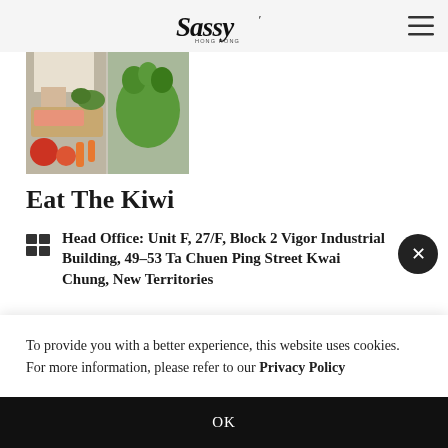Sassy Hong Kong
[Figure (photo): Photo collage showing a person chopping vegetables, groceries with kale and leafy greens, peppers, carrots, and other fresh produce on a cutting board.]
Eat The Kiwi
Head Office: Unit F, 27/F, Block 2 Vigor Industrial Building, 49-53 Ta Chuen Ping Street Kwai Chung, New Territories
To provide you with a better experience, this website uses cookies. For more information, please refer to our Privacy Policy
OK